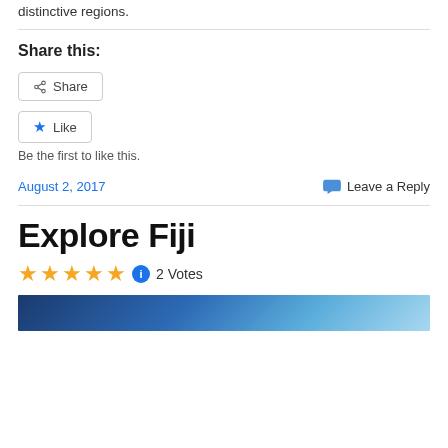distinctive regions.
Share this:
Share
Like
Be the first to like this.
August 2, 2017
Leave a Reply
Explore Fiji
2 Votes
[Figure (photo): Blue ocean/sky image strip at the bottom of the page]